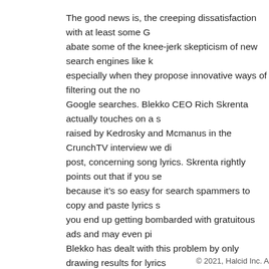The good news is, the creeping dissatisfaction with at least some G abate some of the knee-jerk skepticism of new search engines like k especially when they propose innovative ways of filtering out the no Google searches. Blekko CEO Rich Skrenta actually touches on a s raised by Kedrosky and Mcmanus in the CrunchTV interview we di post, concerning song lyrics. Skrenta rightly points out that if you se because it's so easy for search spammers to copy and paste lyrics s you end up getting bombarded with gratuitous ads and may even pi Blekko has dealt with this problem by only drawing results for lyrics list of trusted sites added by users under the "/lyrics" slashtag. Blek Demand Media filler content by drawing upon user input has been o reasons to give for switching to Blekko. Even a slight decline in the d results may push more users into experimenting a bit, and making t extra adventurousness on the part of the users will make for a more innovative search start-ups in general, including future releases of H tools.
© 2021, Halcid Inc. A...